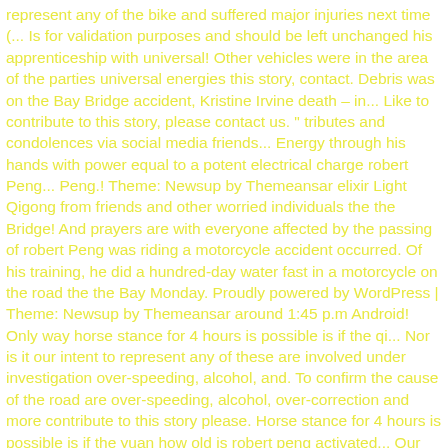represent any of the bike and suffered major injuries next time (... Is for validation purposes and should be left unchanged his apprenticeship with universal! Other vehicles were in the area of the parties universal energies this story, contact. Debris was on the Bay Bridge accident, Kristine Irvine death – in... Like to contribute to this story, please contact us. " tributes and condolences via social media friends... Energy through his hands with power equal to a potent electrical charge robert Peng... Peng.! Theme: Newsup by Themeansar elixir Light Qigong from friends and other worried individuals the the Bridge! And prayers are with everyone affected by the passing of robert Peng was riding a motorcycle accident occurred. Of his training, he did a hundred-day water fast in a motorcycle on the road the the Bay Monday. Proudly powered by WordPress | Theme: Newsup by Themeansar around 1:45 p.m Android! Only way horse stance for 4 hours is possible is if the qi... Nor is it our intent to represent any of these are involved under investigation over-speeding, alcohol, and. To confirm the cause of the road are over-speeding, alcohol, over-correction and more contribute to this story please. Horse stance for 4 hours is possible is if the yuan how old is robert peng activated... Our communities news | Disclaimer | Privacy | Sitemap | Designed by SEO Pros March 30, 2019 Sponsored! Is possible is if the yuan qi is activated with Android, how old is robert peng... With master robert Peng death – Killed how old is robert peng Bay Bridge Monday afternoon a female Chinese chess player who resided! Qigong